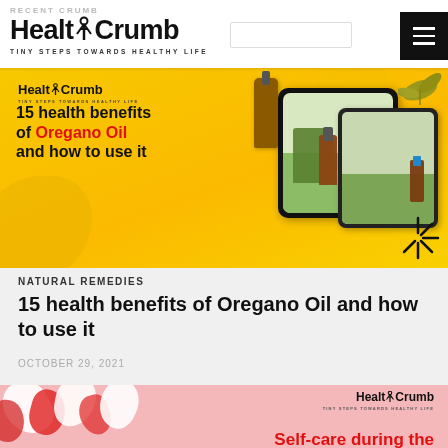RECENT CRUMB | HealthCrumb TINY STEPS TOWARDS HEALTHY LIFE
[Figure (screenshot): HealthCrumb blog banner showing '15 health benefits of Oregano Oil and how to use it' with yellow background, oil bottles, and herbs]
NATURAL REMEDIES
15 health benefits of Oregano Oil and how to use it
OCTOBER 29, 2021
[Figure (photo): Pink background with rose petals and HealthCrumb logo, showing partial text 'Self-care during the']